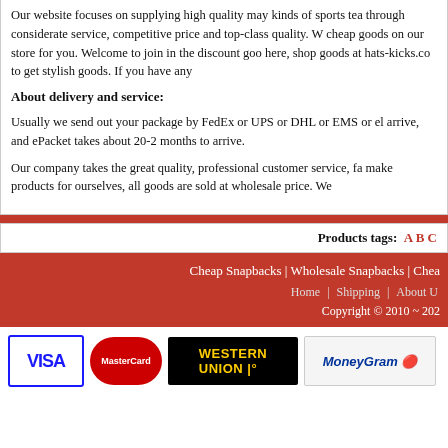Our website focuses on supplying high quality may kinds of sports tea through considerate service, competitive price and top-class quality. W cheap goods on our store for you. Welcome to join in the discount goo here, shop goods at hats-kicks.co to get stylish goods. If you have any
About delivery and service:
Usually we send out your package by FedEx or UPS or DHL or EMS or el arrive, and ePacket takes about 20-2 months to arrive.
Our company takes the great quality, professional customer service, fa make products for ourselves, all goods are sold at wholesale price. We
Products tags: A B C
Cheap Snapbacks | Wholesale Snapbacks | Chea
Home | Shipping | About U
Copyright © 2010 ~ 202
[Figure (logo): Payment method logos: VISA, MasterCard, Western Union, MoneyGram]